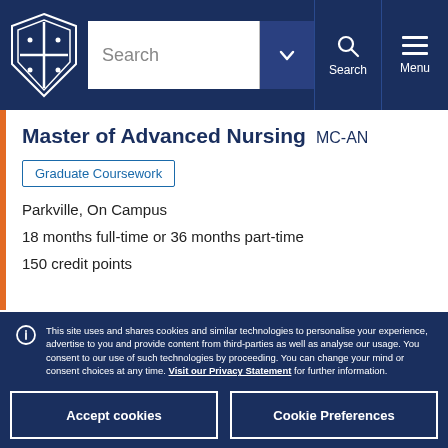University of Melbourne — Navigation bar with search
Master of Advanced Nursing  MC-AN
Graduate Coursework
Parkville, On Campus
18 months full-time or 36 months part-time
150 credit points
This site uses and shares cookies and similar technologies to personalise your experience, advertise to you and provide content from third-parties as well as analyse our usage. You consent to our use of such technologies by proceeding. You can change your mind or consent choices at any time. Visit our Privacy Statement for further information.
Accept cookies
Cookie Preferences